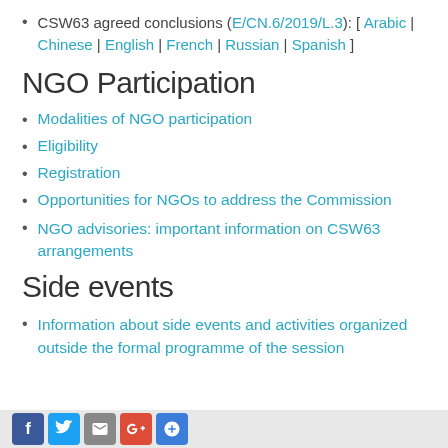CSW63 agreed conclusions (E/CN.6/2019/L.3): [ Arabic | Chinese | English | French | Russian | Spanish ]
NGO Participation
Modalities of NGO participation
Eligibility
Registration
Opportunities for NGOs to address the Commission
NGO advisories: important information on CSW63 arrangements
Side events
Information about side events and activities organized outside the formal programme of the session